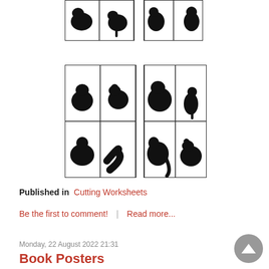[Figure (illustration): Two rows of animal silhouette grids at the top. Top partial grid shows 4 animal silhouettes. Second full grid shows 8 animal silhouettes in a 2x2 layout split into two groups.]
Published in Cutting Worksheets
Be the first to comment! | Read more...
Monday, 22 August 2022 21:31
Book Posters
[Figure (illustration): Two book poster thumbnails with lion characters reading books. Left poster has red border, right poster has purple border.]